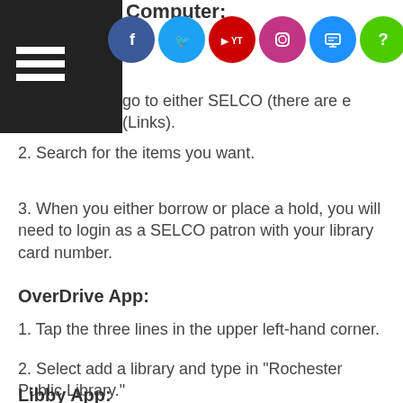Computer:
1.  go to either SELCO (there are e (Links).
2.  Search for the items you want.
3.  When you either borrow or place a hold, you will need to login as a SELCO patron with your library card number.
OverDrive App:
1.  Tap the three lines in the upper left-hand corner.
2.  Select add a library and type in "Rochester Public Library."
3.  Select RPL. (Their logo is an open book with RPL in the center, and it's blue.)
4.  Sign in with a library card.  Select SELCO Patron and then type in your library card number.
5.  Use the three lines in the upper left-hand corner to navigate between each library's collection.
Libby App: